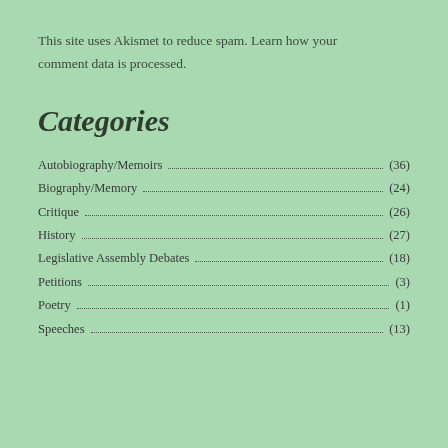This site uses Akismet to reduce spam. Learn how your comment data is processed.
Categories
Autobiography/Memoirs (36)
Biography/Memory (24)
Critique (26)
History (27)
Legislative Assembly Debates (18)
Petitions (3)
Poetry (1)
Speeches (13)